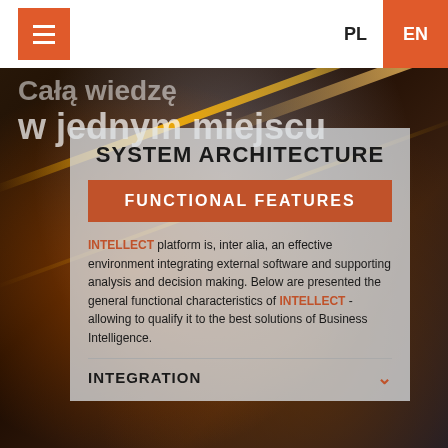PL EN
Całą wiedzę w jednym miejscu
SYSTEM ARCHITECTURE
FUNCTIONAL FEATURES
INTELLECT platform is, inter alia, an effective environment integrating external software and supporting analysis and decision making. Below are presented the general functional characteristics of INTELLECT - allowing to qualify it to the best solutions of Business Intelligence.
INTEGRATION